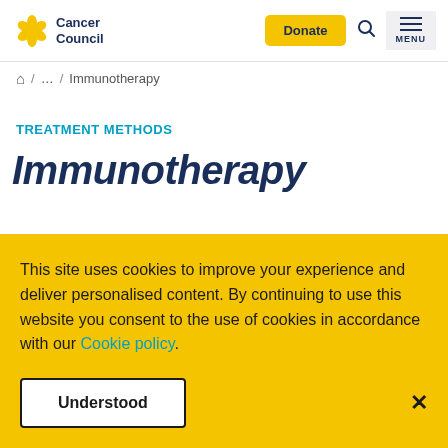Cancer Council | Donate | Search | Menu
Home / ... / Immunotherapy
TREATMENT METHODS
Immunotherapy
This site uses cookies to improve your experience and deliver personalised content. By continuing to use this website you consent to the use of cookies in accordance with our Cookie policy. Understood ×